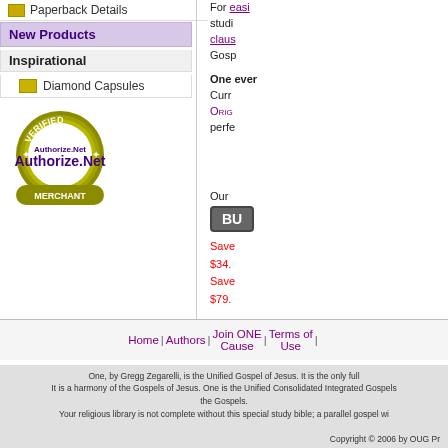Paperback Details
New Products
Inspirational
Diamond Capsules
[Figure (logo): Authorize.Net Verified Merchant seal/badge]
For easily studi claus Gosp
One every Curr ORIG perfe
Our
BU
Save $34. Save $79.
Wan
Home | Authors | Join ONE Cause | Terms of Use
One, by Gregg Zegarelli, is the Unified Gospel of Jesus. It is the only full It is a harmony of the Gospels of Jesus. One is the Unified Consolidated Integrated Gospels the Gospels. Your religious library is not complete without this special study bible; a parallel gospel wi
Copyright © 2006 by OUG Pr